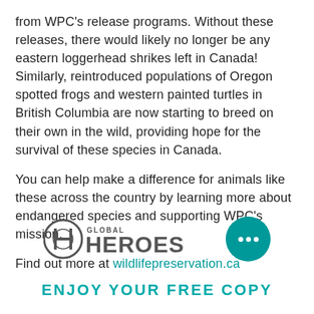from WPC's release programs. Without these releases, there would likely no longer be any eastern loggerhead shrikes left in Canada! Similarly, reintroduced populations of Oregon spotted frogs and western painted turtles in British Columbia are now starting to breed on their own in the wild, providing hope for the survival of these species in Canada.
You can help make a difference for animals like these across the country by learning more about endangered species and supporting WPC's mission.
Find out more at wildlifepreservation.ca
[Figure (logo): Global Heroes logo — stylized H inside a circle with text 'GLOBAL HEROES']
[Figure (illustration): Teal circular chat button with three dots]
ENJOY YOUR FREE COPY